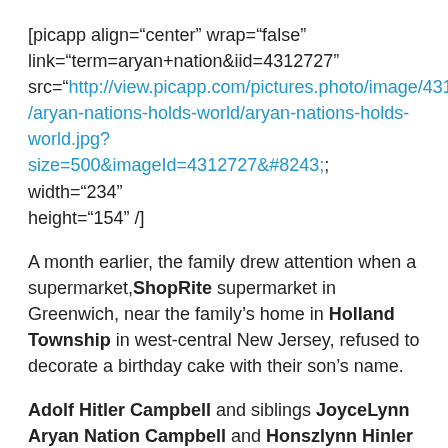[picapp align="center" wrap="false" link="term=aryan+nation&iid=4312727" src="http://view.picapp.com/pictures.photo/image/4312727/aryan-nations-holds-world/aryan-nations-holds-world.jpg?size=500&imageId=4312727&#8243; width="234" height="154" /]
A month earlier, the family drew attention when a supermarket,ShopRite supermarket in Greenwich, near the family’s home in Holland Township in west-central New Jersey, refused to decorate a birthday cake with their son’s name.
Adolf Hitler Campbell and siblings JoyceLynn Aryan Nation Campbell and Honszlynn Hinler Jeannie Campbell have been in foster care ever since.(SOURCE)